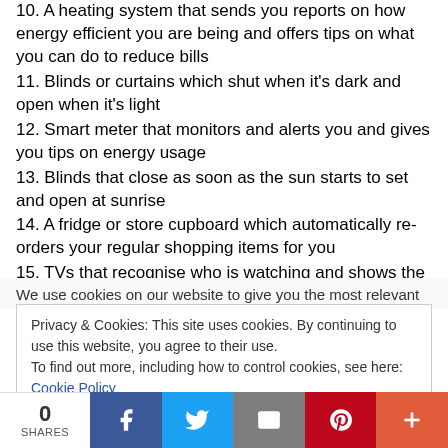10. A heating system that sends you reports on how energy efficient you are being and offers tips on what you can do to reduce bills
11. Blinds or curtains which shut when it's dark and open when it's light
12. Smart meter that monitors and alerts you and gives you tips on energy usage
13. Blinds that close as soon as the sun starts to set and open at sunrise
14. A fridge or store cupboard which automatically re-orders your regular shopping items for you
15. TVs that recognise who is watching and shows the
We use cookies on our website to give you the most relevant
Privacy & Cookies: This site uses cookies. By continuing to use this website, you agree to their use. To find out more, including how to control cookies, see here: Cookie Policy